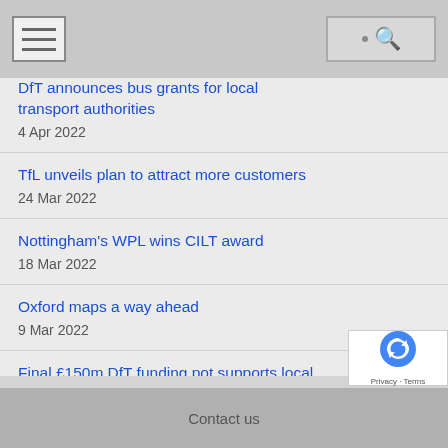[navigation bar with hamburger menu and search icon]
DfT announces bus grants for local transport authorities
4 Apr 2022
TfL unveils plan to attract more customers
24 Mar 2022
Nottingham's WPL wins CILT award
18 Mar 2022
Oxford maps a way ahead
9 Mar 2022
Final £150m DfT funding pot supports local transport Covid recovery
1 Mar 2022
Contact us